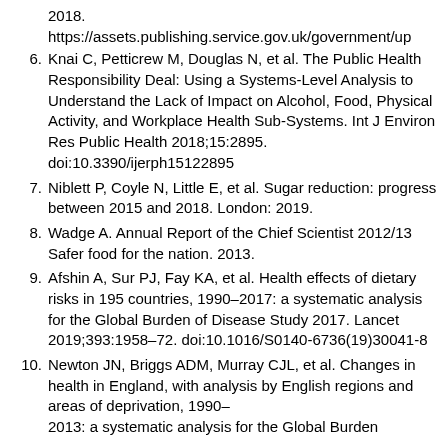2018. https://assets.publishing.service.gov.uk/government/up
6. Knai C, Petticrew M, Douglas N, et al. The Public Health Responsibility Deal: Using a Systems-Level Analysis to Understand the Lack of Impact on Alcohol, Food, Physical Activity, and Workplace Health Sub-Systems. Int J Environ Res Public Health 2018;15:2895. doi:10.3390/ijerph15122895
7. Niblett P, Coyle N, Little E, et al. Sugar reduction: progress between 2015 and 2018. London: 2019.
8. Wadge A. Annual Report of the Chief Scientist 2012/13 Safer food for the nation. 2013.
9. Afshin A, Sur PJ, Fay KA, et al. Health effects of dietary risks in 195 countries, 1990–2017: a systematic analysis for the Global Burden of Disease Study 2017. Lancet 2019;393:1958–72. doi:10.1016/S0140-6736(19)30041-8
10. Newton JN, Briggs ADM, Murray CJL, et al. Changes in health in England, with analysis by English regions and areas of deprivation, 1990–2013: a systematic analysis for the Global Burden